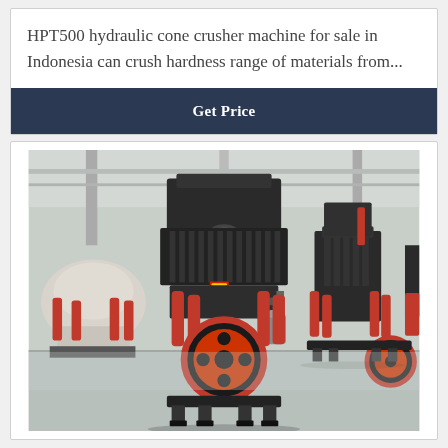HPT500 hydraulic cone crusher machine for sale in Indonesia can crush hardness range of materials from...
Get Price
[Figure (photo): Industrial factory floor showing multiple HPT500 hydraulic cone crusher machines. The central machine is large, black with red hydraulic cylinders and a red-and-black flywheel at the front. Multiple similar machines are visible in the background on a factory floor with concrete flooring and structural steel columns.]